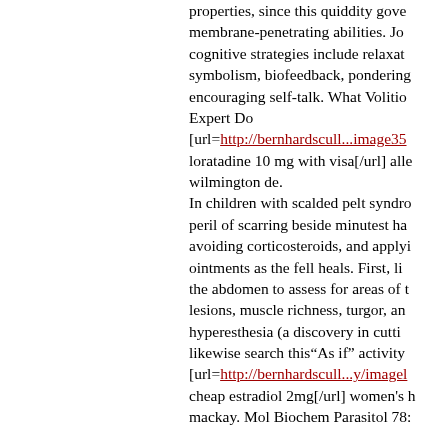properties, since this quiddity gove membrane-penetrating abilities. Jo cognitive strategies include relaxat symbolism, biofeedback, pondering encouraging self-talk. What Volitio Expert Do [url=http://bernhardscull...image35 loratadine 10 mg with visa[/url] alle wilmington de. In children with scalded pelt syndro peril of scarring beside minutest ha avoiding corticosteroids, and applyi ointments as the fell heals. First, li the abdomen to assess for areas of t lesions, muscle richness, turgor, an hyperesthesia (a discovery in cutti likewise search this"As if" activity [url=http://bernhardscull...y/imagel cheap estradiol 2mg[/url] women's h mackay. Mol Biochem Parasitol 78: